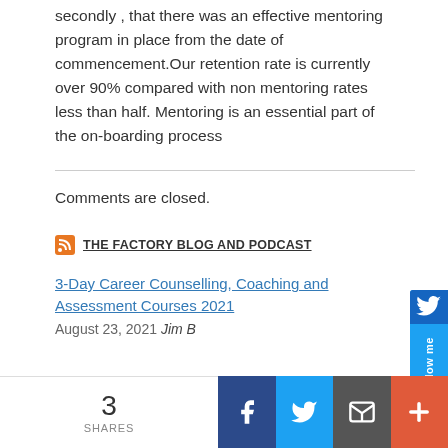secondly , that there was an effective mentoring program in place from the date of commencement.Our retention rate is currently over 90% compared with non mentoring rates less than half. Mentoring is an essential part of the on-boarding process
Comments are closed.
THE FACTORY BLOG AND PODCAST
3-Day Career Counselling, Coaching and Assessment Courses 2021
August 23, 2021 Jim B